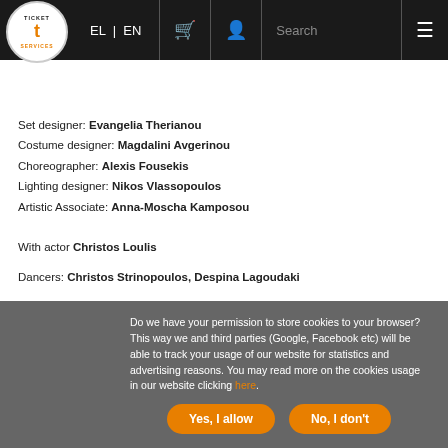EL | EN   [basket icon]   [user icon]   Search   [menu icon]
PRESENTATION | INFORMATION | TICKETS
Set designer: Evangelia Therianou
Costume designer: Magdalini Avgerinou
Choreographer: Alexis Fousekis
Lighting designer: Nikos Vlassopoulos
Artistic Associate: Anna-Moscha Kamposou
With actor Christos Loulis
Dancers: Christos Strinopoulos, Despina Lagoudaki
With the participation of an 11-member instrumental ensemble
With a 5-euro ticket viewers can enjoy this production from the comfort of their homes at nationalopera.gr/GNOTV/en, at any time they choose, on their computer, ipad, TV or mobile phones. The ticket offers the possibility to access the performance for an unlimited number of times over the course of a 30-day period starting from the first streaming.
Do we have your permission to store cookies to your browser? This way we and third parties (Google, Facebook etc) will be able to track your usage of our website for statistics and advertising reasons. You may read more on the cookies usage in our website clicking here.
Yes, I allow   No, I don't